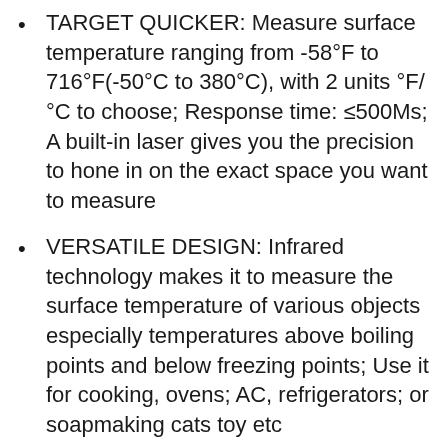TARGET QUICKER: Measure surface temperature ranging from -58°F to 716°F(-50°C to 380°C), with 2 units °F/°C to choose; Response time: ≤500Ms; A built-in laser gives you the precision to hone in on the exact space you want to measure
VERSATILE DESIGN: Infrared technology makes it to measure the surface temperature of various objects especially temperatures above boiling points and below freezing points; Use it for cooking, ovens; AC, refrigerators; or soapmaking cats toy etc
Note: This color model don't contain emissivity adjustment feature and max temperature feature